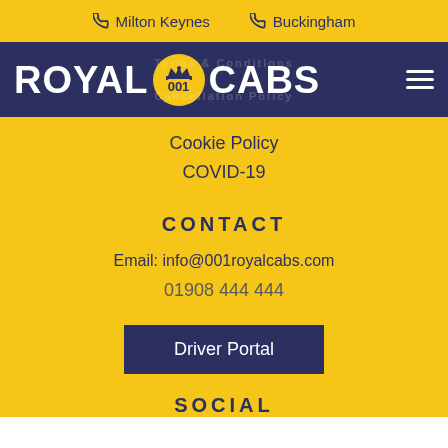Milton Keynes   Buckingham
[Figure (logo): Royal Cabs 001 logo with crown badge on dark navy navigation bar with hamburger menu icon]
Cookie Policy
COVID-19
CONTACT
Email: info@001royalcabs.com
01908 444 444
Driver Portal
SOCIAL